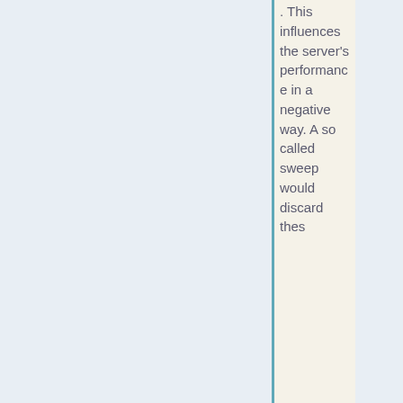. This influences the server's performance in a negative way. A so called sweep would discard thes